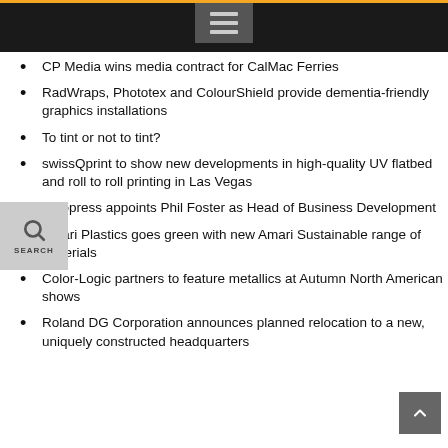Navigation menu header with hamburger icon
CP Media wins media contract for CalMac Ferries
RadWraps, Phototex and ColourShield provide dementia-friendly graphics installations
To tint or not to tint?
swissQprint to show new developments in high-quality UV flatbed and roll to roll printing in Las Vegas
Solopress appoints Phil Foster as Head of Business Development
Amari Plastics goes green with new Amari Sustainable range of materials
Color-Logic partners to feature metallics at Autumn North American shows
Roland DG Corporation announces planned relocation to a new, uniquely constructed headquarters